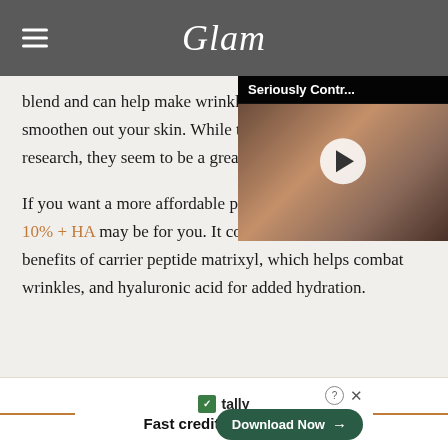Glam
blend and can help make wrinkles less visible and even smoothen out your skin. While they may need more research, they seem to be a great addition to your vanity.
[Figure (screenshot): Video overlay with title 'Seriously Contr...' showing a woman's face with a play button, and a close button]
If you want a more affordable pick, The Ordinary Matrixyl 10% + HA may be for you. It combines the powerful benefits of carrier peptide matrixyl, which helps combat wrinkles, and hyaluronic acid for added hydration.
[Figure (screenshot): Advertisement banner for Tally - Fast credit card payoff with Download Now button]